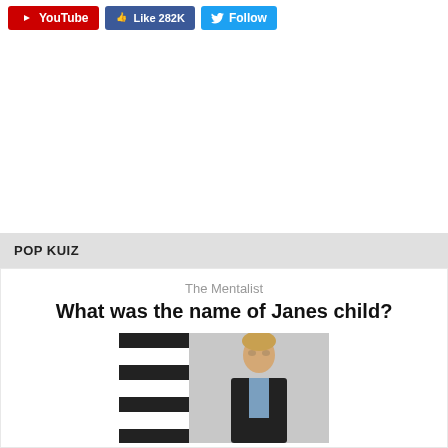[Figure (screenshot): Social media buttons: YouTube, Facebook Like 282K, Twitter Follow]
POP KUIZ
The Mentalist
What was the name of Janes child?
[Figure (photo): Photo of a man in a dark suit against a light background, with black and white striped pattern on the left side]